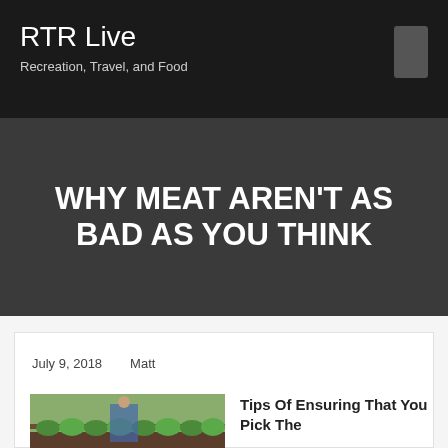RTR Live
Recreation, Travel, and Food
WHY MEAT AREN'T AS BAD AS YOU THINK
July 9, 2018   Matt
[Figure (photo): Person working in a vegetable garden with rows of green lettuce plants]
Tips Of Ensuring That You Pick The